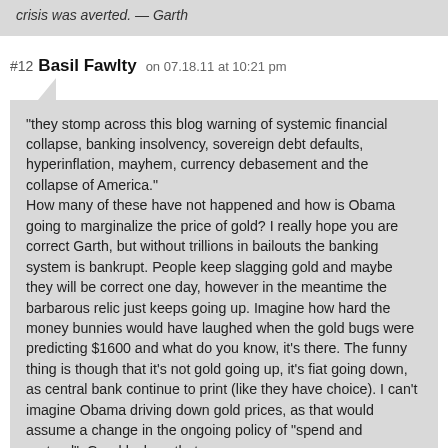crisis was averted. — Garth
#12 Basil Fawlty on 07.18.11 at 10:21 pm
“they stomp across this blog warning of systemic financial collapse, banking insolvency, sovereign debt defaults, hyperinflation, mayhem, currency debasement and the collapse of America.” How many of these have not happened and how is Obama going to marginalize the price of gold? I really hope you are correct Garth, but without trillions in bailouts the banking system is bankrupt. People keep slagging gold and maybe they will be correct one day, however in the meantime the barbarous relic just keeps going up. Imagine how hard the money bunnies would have laughed when the gold bugs were predicting $1600 and what do you know, it’s there. The funny thing is though that it’s not gold going up, it’s fiat going down, as central bank continue to print (like they have choice). I can’t imagine Obama driving down gold prices, as that would assume a change in the ongoing policy of “spend and pretend”. Good luck on that one.
#13 WI Boomer on 07.18.11 at 10:22 pm